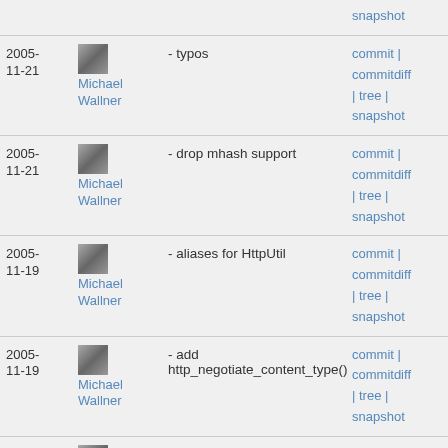| Date | Author | Message | Links |
| --- | --- | --- | --- |
|  |  |  | snapshot |
| 2005-11-21 | Michael Wallner | - typos | commit | commitdiff | tree | snapshot |
| 2005-11-21 | Michael Wallner | - drop mhash support | commit | commitdiff | tree | snapshot |
| 2005-11-19 | Michael Wallner | - aliases for HttpUtil | commit | commitdiff | tree | snapshot |
| 2005-11-19 | Michael Wallner | - add http_negotiate_content_type() | commit | commitdiff | tree | snapshot |
| 2005-11-19 | Michael Wallner | - fix phpinfo() | commit | commitdiff | tree | snapshot |